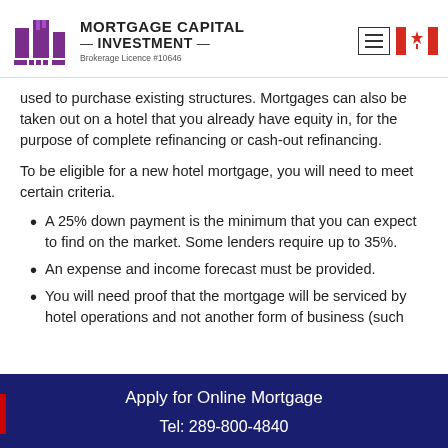MORTGAGE CAPITAL INVESTMENT — Brokerage Licence #10646
used to purchase existing structures. Mortgages can also be taken out on a hotel that you already have equity in, for the purpose of complete refinancing or cash-out refinancing.
To be eligible for a new hotel mortgage, you will need to meet certain criteria.
A 25% down payment is the minimum that you can expect to find on the market. Some lenders require up to 35%.
An expense and income forecast must be provided.
You will need proof that the mortgage will be serviced by hotel operations and not another form of business (such
Apply for Online Mortgage
Tel: 289-800-4840